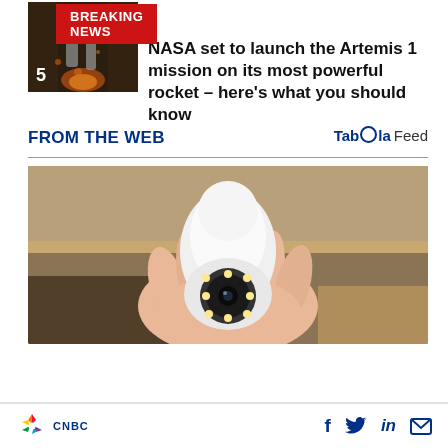BREAKING NEWS
NASA set to launch the Artemis 1 mission on its most powerful rocket – here's what you should know
[Figure (photo): Thumbnail image of a rocket (Artemis/SLS) with number 5 label]
FROM THE WEB
Taboola Feed
[Figure (photo): A hand holding a white bullet-shaped security camera shaped like a light bulb, with LED ring around lens]
CNBC logo with social icons: Facebook, Twitter, LinkedIn, Email